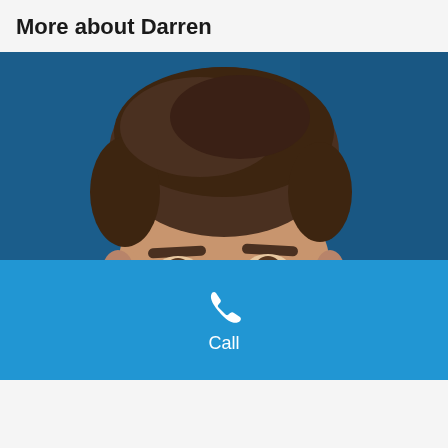More about Darren
[Figure (photo): Headshot of a young man with short brown hair smiling, against a dark blue background]
Call